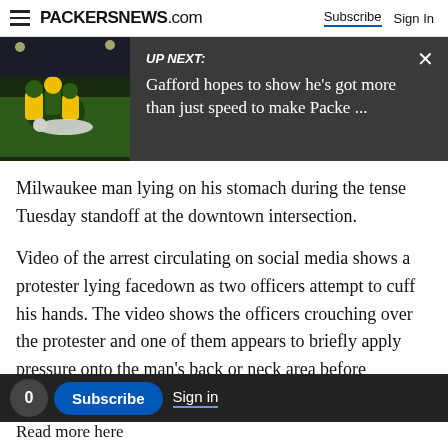PACKERSNEWS.com — Subscribe | Sign In
[Figure (screenshot): UP NEXT banner with Green Bay Packers football game photo on left and text: 'UP NEXT: Gafford hopes to show he's got more than just speed to make Packe ...' with close X button on dark gray background]
Milwaukee man lying on his stomach during the tense Tuesday standoff at the downtown intersection.
Video of the arrest circulating on social media shows a protester lying facedown as two officers attempt to cuff his hands. The video shows the officers crouching over the protester and one of them appears to briefly apply pressure onto the man's back or neck area before adjusting
Read more here